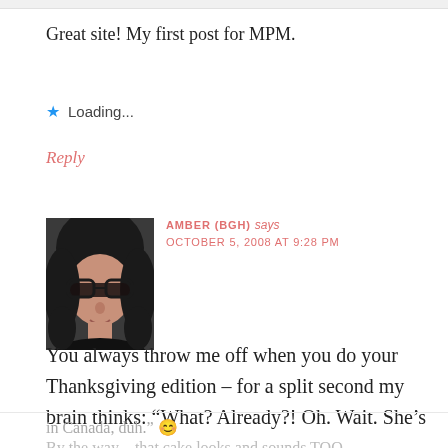Great site! My first post for MPM.
Loading...
Reply
[Figure (photo): Profile photo of a woman with dark hair and glasses]
AMBER (BGH) says
OCTOBER 5, 2008 AT 9:28 PM
You always throw me off when you do your Thanksgiving edition – for a split second my brain thinks: “What? Already?! Oh. Wait. She’s
in Canada, duh.” 😊
By the way – that cake looks and sounds TOO